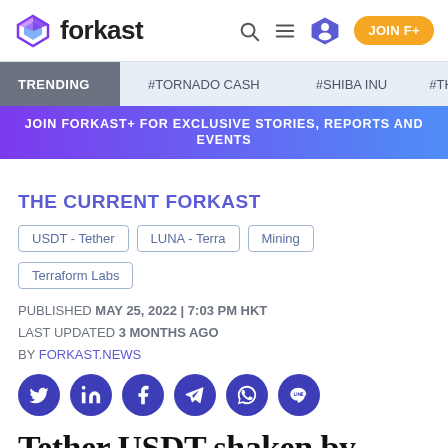forkast — navigation bar with search, menu, profile and JOIN F+ button
TRENDING #TORNADO CASH #SHIBA INU #THE
JOIN FORKAST+ FOR EXCLUSIVE STORIES, REPORTS AND EVENTS
THE CURRENT FORKAST
USDT - Tether
LUNA - Terra
Mining
Terraform Labs
PUBLISHED MAY 25, 2022 | 7:03 PM HKT
LAST UPDATED 3 MONTHS AGO
BY FORKAST.NEWS
[Figure (infographic): Social share icons row: Twitter, LinkedIn, Facebook, Telegram, WhatsApp, Line — all in dark blue circles]
Tether USDT shaken by